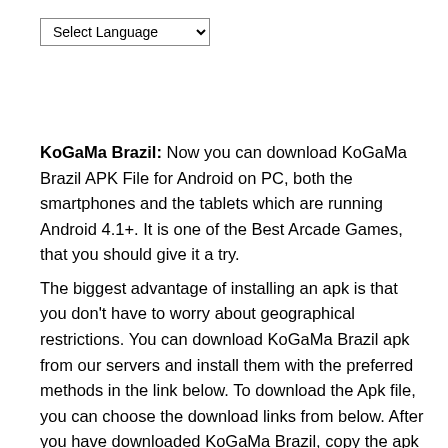[Figure (screenshot): A 'Select Language' dropdown selector widget at the top of the page]
KoGaMa Brazil: Now you can download KoGaMa Brazil APK File for Android on PC, both the smartphones and the tablets which are running Android 4.1+. It is one of the Best Arcade Games, that you should give it a try.
The biggest advantage of installing an apk is that you don't have to worry about geographical restrictions. You can download KoGaMa Brazil apk from our servers and install them with the preferred methods in the link below. To download the Apk file, you can choose the download links from below. After you have downloaded KoGaMa Brazil, copy the apk to your SD card or your device. Then use any preferred file manager you have and install it on your device.